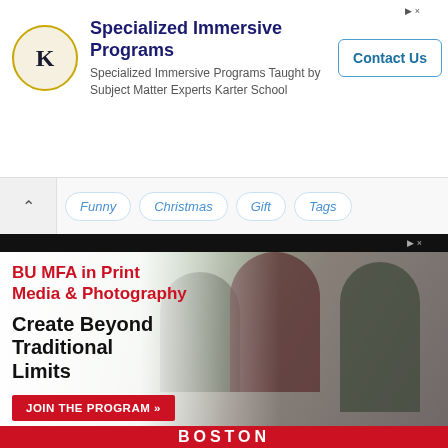[Figure (infographic): Top advertisement banner for Karter School Specialized Immersive Programs with logo, headline, subtext, and Contact Us button]
Specialized Immersive Programs
Specialized Immersive Programs Taught by Subject Matter Experts Karter School
Contact Us
Funny
Christmas
Gift
Tags
[Figure (infographic): BU MFA in Print Media & Photography advertisement with photo of students working, tagline 'Create Beyond Traditional Limits', red CTA button 'JOIN THE PROGRAM »', and BOSTON university branding at bottom]